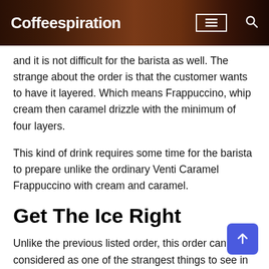Coffeespiration
and it is not difficult for the barista as well. The strange about the order is that the customer wants to have it layered. Which means Frappuccino, whip cream then caramel drizzle with the minimum of four layers.
This kind of drink requires some time for the barista to prepare unlike the ordinary Venti Caramel Frappuccino with cream and caramel.
Get The Ice Right
Unlike the previous listed order, this order can be considered as one of the strangest things to see in a coffee shop. There was a customer ordered Venti Green Tea Frappuccino with no sweetener, one scoop